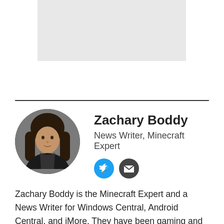[Figure (photo): Gray placeholder box at top of page]
[Figure (photo): Circular avatar photo of Zachary Boddy, a person with long dark hair wearing a dark jacket]
Zachary Boddy
News Writer, Minecraft Expert
[Figure (other): Twitter and email social media icon buttons]
Zachary Boddy is the Minecraft Expert and a News Writer for Windows Central, Android Central, and iMore. They have been gaming and writing for most of their life, and have been freelancing for Windows Central and its sister sites since 2019, with a focus on Xbox and PC gaming. You can find